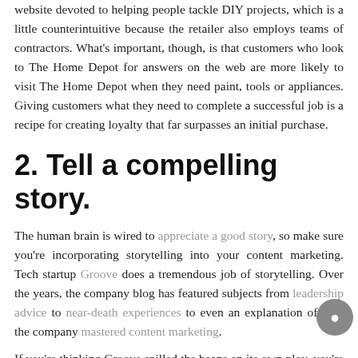website devoted to helping people tackle DIY projects, which is a little counterintuitive because the retailer also employs teams of contractors. What's important, though, is that customers who look to The Home Depot for answers on the web are more likely to visit The Home Depot when they need paint, tools or appliances. Giving customers what they need to complete a successful job is a recipe for creating loyalty that far surpasses an initial purchase.
2. Tell a compelling story.
The human brain is wired to appreciate a good story, so make sure you're incorporating storytelling into your content marketing. Tech startup Groove does a tremendous job of storytelling. Over the years, the company blog has featured subjects from leadership advice to near-death experiences to even an explanation of how the company mastered content marketing.
If you're thinking Groove spilled the beans on its own ploy, you're missing the mark. Getting personal makes content more powerful — shining a light on your own